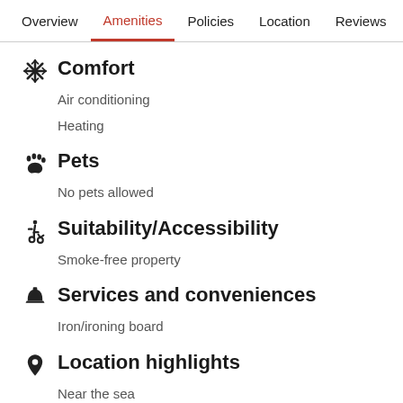Overview  Amenities  Policies  Location  Reviews
Comfort
Air conditioning
Heating
Pets
No pets allowed
Suitability/Accessibility
Smoke-free property
Services and conveniences
Iron/ironing board
Location highlights
Near the sea
In the city center
Near a health or beauty spa